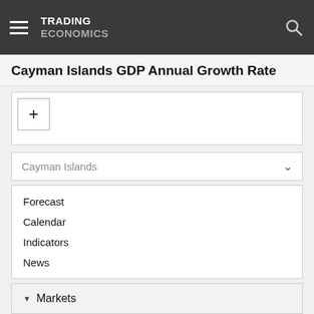TRADING ECONOMICS
Cayman Islands GDP Annual Growth Rate
[Figure (other): Chart placeholder with a plus (+) button in the top-left corner]
Cayman Islands
Forecast
Calendar
Indicators
News
Markets
GDP